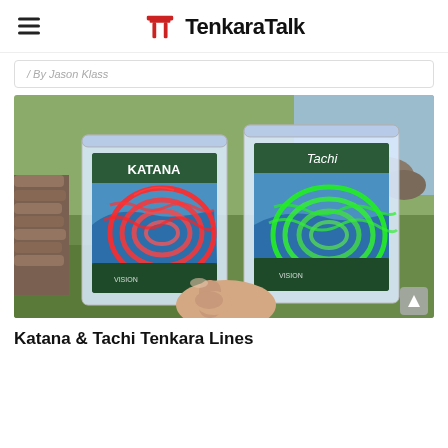TenkaraTalk
/ By Jason Klass
[Figure (photo): Two plastic zipper bags held in a hand outdoors. Left bag labeled KATANA contains a coiled red fishing line; right bag labeled Tachi contains a coiled green fishing line. Background shows grass, rocks, and water.]
Katana & Tachi Tenkara Lines